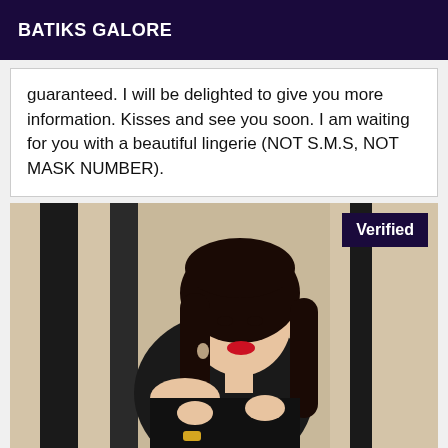BATIKS GALORE
guaranteed. I will be delighted to give you more information. Kisses and see you soon. I am waiting for you with a beautiful lingerie (NOT S.M.S, NOT MASK NUMBER).
[Figure (photo): A young woman with long dark hair and red lipstick, wearing a black outfit, posed near a wall with black and white stripes. A 'Verified' badge appears in the top-right corner of the image.]